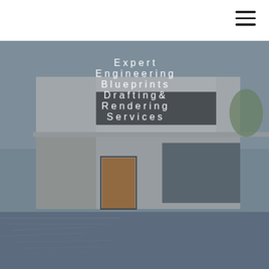[Figure (photo): Background photo of a modern white minimalist house with large glass windows and architectural blueprints in the foreground, partially overlaid with a dark tint.]
Expert Engineering Blueprints Drafting & Rendering Services